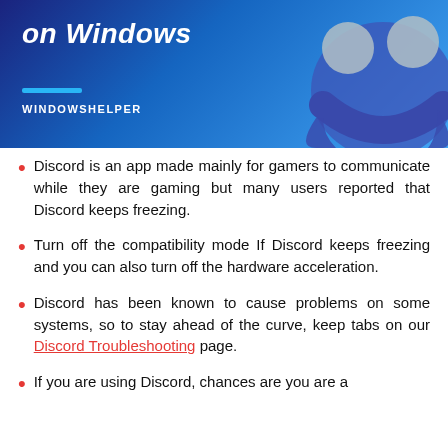[Figure (illustration): Banner image with dark blue to light blue gradient background, Discord logo (two circles for eyes and curved shape) on the right, bold italic white text 'on Windows', cyan underline bar, and 'WINDOWSHELPER' label in white.]
Discord is an app made mainly for gamers to communicate while they are gaming but many users reported that Discord keeps freezing.
Turn off the compatibility mode If Discord keeps freezing and you can also turn off the hardware acceleration.
Discord has been known to cause problems on some systems, so to stay ahead of the curve, keep tabs on our Discord Troubleshooting page.
If you are using Discord, chances are you are a